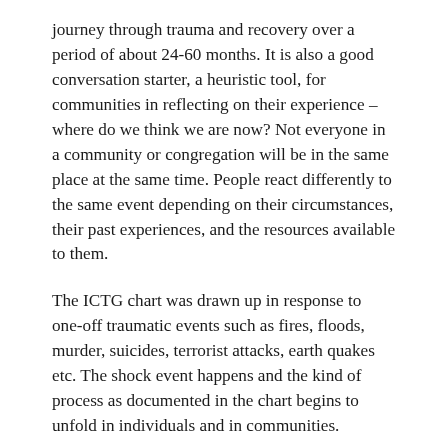journey through trauma and recovery over a period of about 24-60 months. It is also a good conversation starter, a heuristic tool, for communities in reflecting on their experience – where do we think we are now? Not everyone in a community or congregation will be in the same place at the same time. People react differently to the same event depending on their circumstances, their past experiences, and the resources available to them.
The ICTG chart was drawn up in response to one-off traumatic events such as fires, floods, murder, suicides, terrorist attacks, earth quakes etc. The shock event happens and the kind of process as documented in the chart begins to unfold in individuals and in communities.
In the heroic phase after the initial impact of the shock event, people discharge their stress hormones that have been activated by the shock through wanting to do